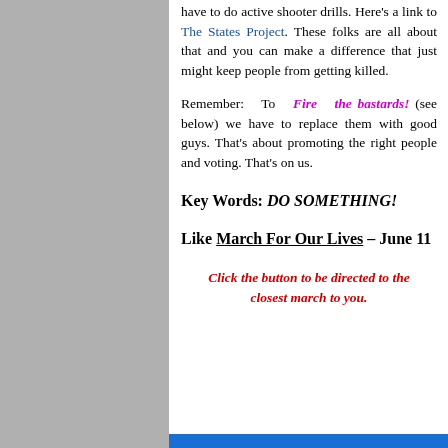have to do active shooter drills. Here's a link to The States Project. These folks are all about that and you can make a difference that just might keep people from getting killed.
Remember: To Fire the bastards! (see below) we have to replace them with good guys. That's about promoting the right people and voting. That's on us.
Key Words: DO SOMETHING!
Like March For Our Lives – June 11
Click the button to be directed to the closest march to you.